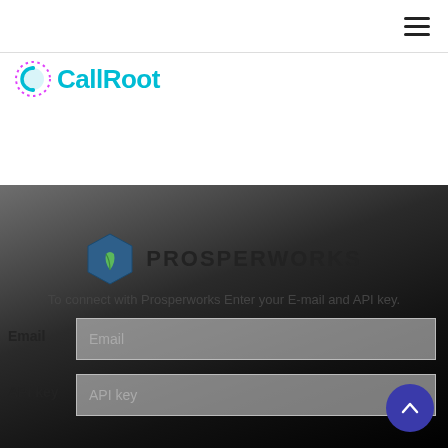CallRoot - hamburger menu icon
[Figure (logo): CallRoot logo with cyan circle icon and 'CallRoot' text in cyan]
[Figure (logo): Prosperworks hexagonal logo icon with leaf, next to bold text 'PROSPERWORKS']
To connect with Prosperworks Enter your E-mail and API key.
Email
Email (placeholder)
API key
API key (placeholder)